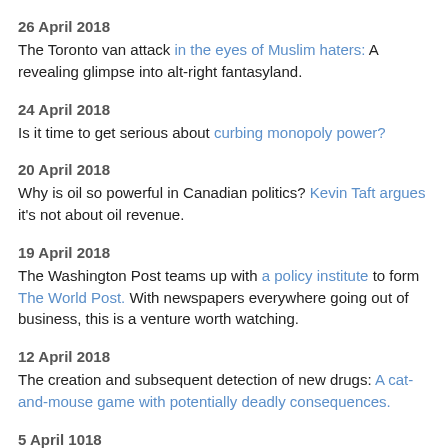26 April 2018
The Toronto van attack in the eyes of Muslim haters: A revealing glimpse into alt-right fantasyland.
24 April 2018
Is it time to get serious about curbing monopoly power?
20 April 2018
Why is oil so powerful in Canadian politics? Kevin Taft argues it's not about oil revenue.
19 April 2018
The Washington Post teams up with a policy institute to form The World Post. With newspapers everywhere going out of business, this is a venture worth watching.
12 April 2018
The creation and subsequent detection of new drugs: A cat-and-mouse game with potentially deadly consequences.
5 April 1018
Unholy alliance: Mass shootings bring out trolls and conspiracy…